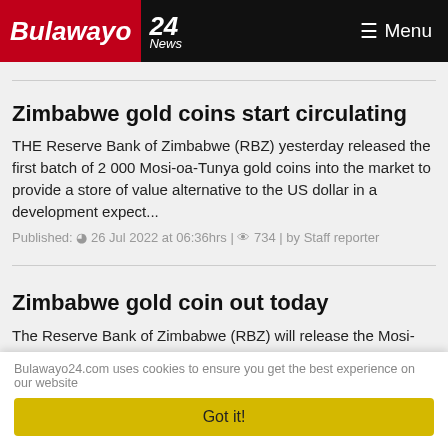Bulawayo 24 News | Menu
Zimbabwe gold coins start circulating
THE Reserve Bank of Zimbabwe (RBZ) yesterday released the first batch of 2 000 Mosi-oa-Tunya gold coins into the market to provide a store of value alternative to the US dollar in a development expect...
Published: © 26 Jul 2022 at 06:36hrs | 👁 734 | by Staff reporter
Zimbabwe gold coin out today
The Reserve Bank of Zimbabwe (RBZ) will release the Mosi-oa-Tunya gold coins onto the market today and they will be
Bulawayo24.com uses cookies to ensure you get the best experience on our website
Got it!